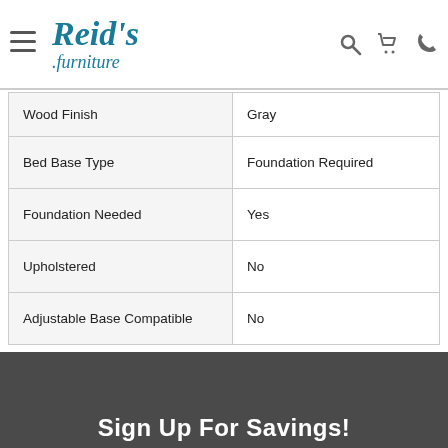Reid's Furniture
| Wood Finish | Gray |
| Bed Base Type | Foundation Required |
| Foundation Needed | Yes |
| Upholstered | No |
| Adjustable Base Compatible | No |
Sign Up For Savings!